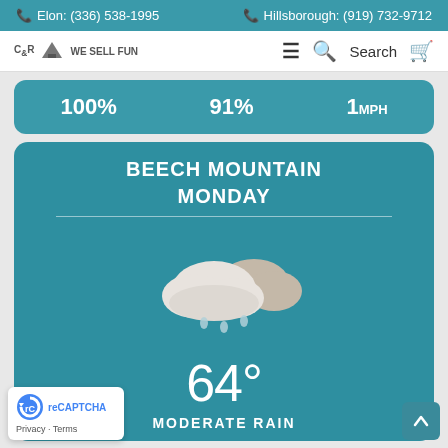Elon: (336) 538-1995   Hillsborough: (919) 732-9712
[Figure (logo): C&R Ski Outdoor - We Sell Fun logo with mountain icon, hamburger menu, search icon, Search text, and cart icon]
100%  91%  1MPH
BEECH MOUNTAIN
MONDAY
[Figure (illustration): Two overlapping clouds with rain drops below them - weather icon for moderate rain]
64°
MODERATE RAIN